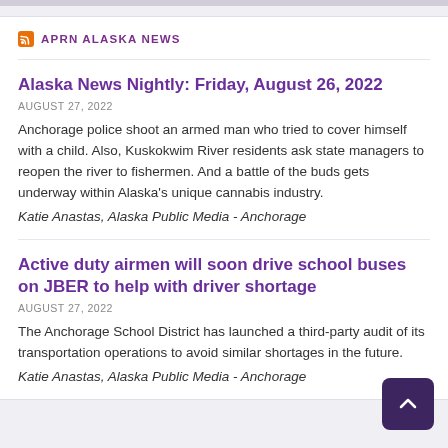APRN ALASKA NEWS
Alaska News Nightly: Friday, August 26, 2022
AUGUST 27, 2022
Anchorage police shoot an armed man who tried to cover himself with a child. Also, Kuskokwim River residents ask state managers to reopen the river to fishermen. And a battle of the buds gets underway within Alaska's unique cannabis industry.
Katie Anastas, Alaska Public Media - Anchorage
Active duty airmen will soon drive school buses on JBER to help with driver shortage
AUGUST 27, 2022
The Anchorage School District has launched a third-party audit of its transportation operations to avoid similar shortages in the future.
Katie Anastas, Alaska Public Media - Anchorage